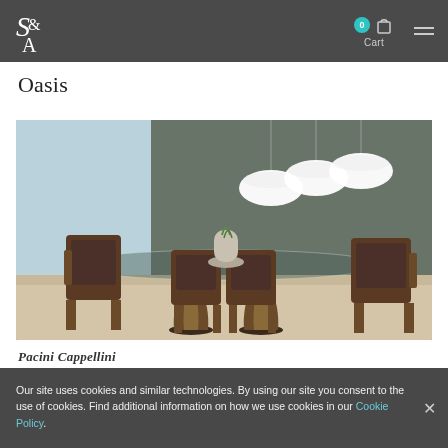SA logo | Cart 0 | Menu
Oasis
[Figure (photo): Luxury dining room scene with a glass-top table on sculptural walnut bases, surrounded by dark upholstered chairs, with three white oval pendant lights hanging from above, against a concrete-look wall with a lake view window on the left.]
Pacini Cappellini
Our site uses cookies and similar technologies. By using our site you consent to the use of cookies. Find additional information on how we use cookies in our Cookie Policy.